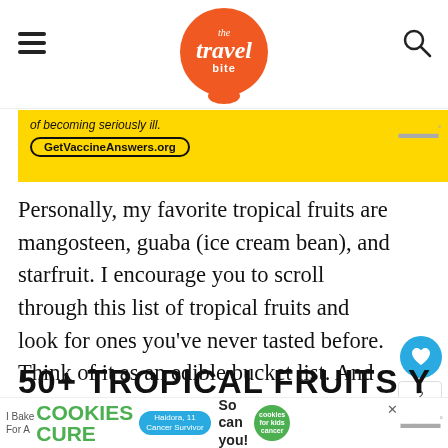the travel bite
[Figure (screenshot): Yellow advertisement banner for GetVaccineAnswers.org with text 'of becoming seriously ill.' and URL in oval border, with ad council badge]
Personally, my favorite tropical fruits are mangosteen, guaba (ice cream bean), and starfruit. I encourage you to scroll through this list of tropical fruits and look for ones you've never tasted before. Think of it as an edible bucket list. And once you've tried them all, you can pick your personal favorites.
50+ TROPICAL FRUITS YOU
[Figure (screenshot): Bottom advertisement banner for Cookies for Kids' Cancer with image of child and text 'I Bake COOKIES For A CURE, So can you!' with green cookie logo and close button]